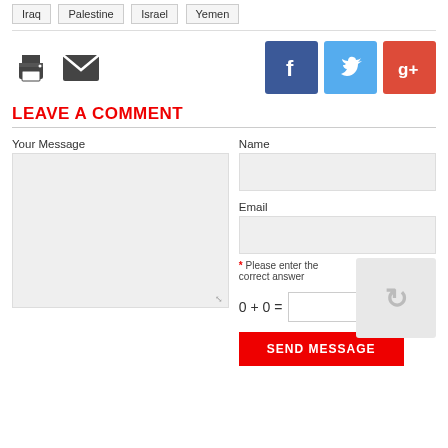Iraq
Palestine
Israel
Yemen
[Figure (other): Print and email action icons, plus Facebook, Twitter, and Google+ social sharing buttons]
LEAVE A COMMENT
Your Message
Name
Email
* Please enter the correct answer
0 + 0 =
SEND MESSAGE